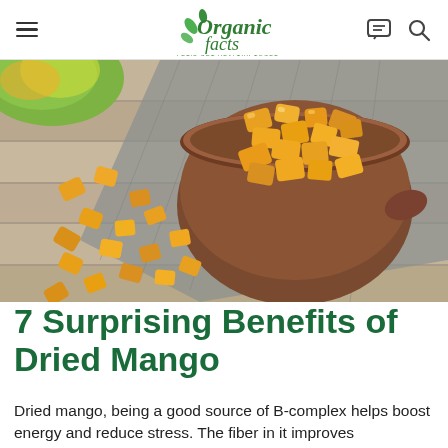Organic Facts — LET'S GET HEALTHY TOGETHER
[Figure (photo): A wooden bowl overflowing with golden dried mango chunks, scattered pieces on a grey rustic wooden surface with a fresh mango in the top-left corner.]
7 Surprising Benefits of Dried Mango
Dried mango, being a good source of B-complex helps boost energy and reduce stress. The fiber in it improves